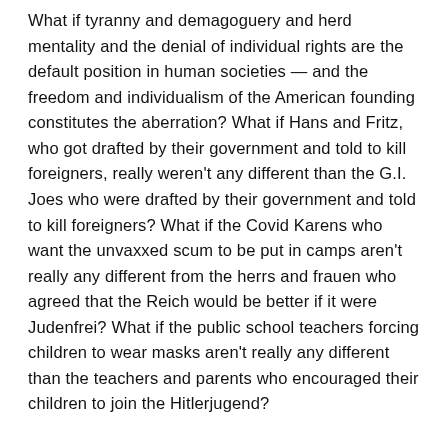What if tyranny and demagoguery and herd mentality and the denial of individual rights are the default position in human societies — and the freedom and individualism of the American founding constitutes the aberration? What if Hans and Fritz, who got drafted by their government and told to kill foreigners, really weren't any different than the G.I. Joes who were drafted by their government and told to kill foreigners? What if the Covid Karens who want the unvaxxed scum to be put in camps aren't really any different from the herrs and frauen who agreed that the Reich would be better if it were Judenfrei? What if the public school teachers forcing children to wear masks aren't really any different than the teachers and parents who encouraged their children to join the Hitlerjugend?